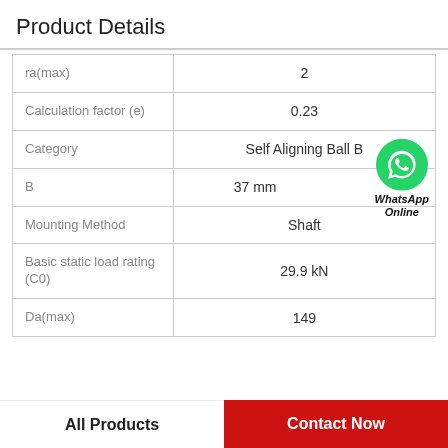Product Details
| Property | Value |
| --- | --- |
| ra(max) | 2 |
| Calculation factor (e) | 0.23 |
| Category | Self Aligning Ball B |
| B | 37 mm |
| Mounting Method | Shaft |
| Basic static load rating (C0) | 29.9 kN |
| Da(max) | 149 |
WhatsApp Online
All Products | Contact Now